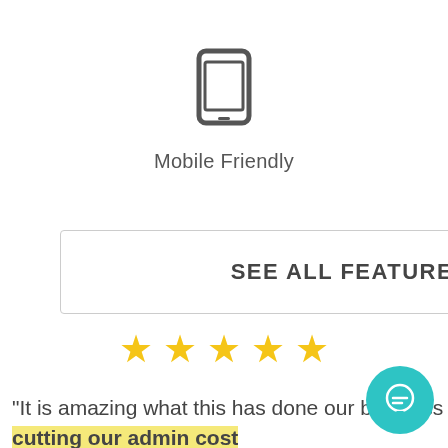[Figure (illustration): Mobile phone icon in dark gray, outline style]
Mobile Friendly
SEE ALL FEATURES
[Figure (other): Five gold star rating icons]
“It is amazing what this has done our business cutting our admin cost